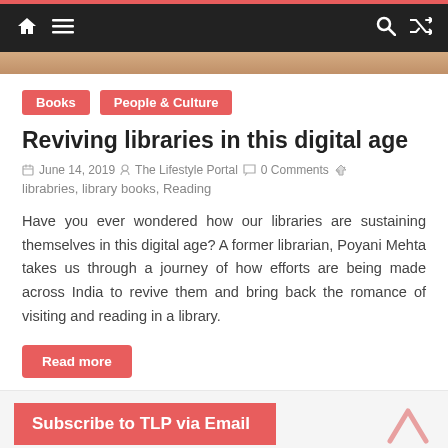Navigation bar with home icon, menu icon, search icon, shuffle icon
[Figure (photo): Partial image strip showing a brown/tan background, top of an article image]
Books
People & Culture
Reviving libraries in this digital age
June 14, 2019   The Lifestyle Portal   0 Comments   librabries, library books, Reading
Have you ever wondered how our libraries are sustaining themselves in this digital age? A former librarian, Poyani Mehta takes us through a journey of how efforts are being made across India to revive them and bring back the romance of visiting and reading in a library.
Read more
Subscribe to TLP via Email